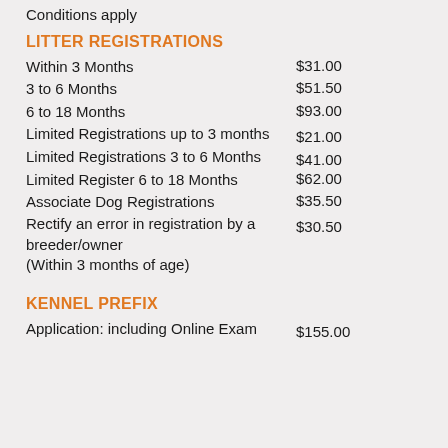Conditions apply
LITTER REGISTRATIONS
Within 3 Months   $31.00
3 to 6 Months   $51.50
6 to 18 Months   $93.00
Limited Registrations up to 3 months   $21.00
Limited Registrations 3 to 6 Months   $41.00
Limited Register 6 to 18 Months   $62.00
Associate Dog Registrations   $35.50
Rectify an error in registration by a breeder/owner (Within 3 months of age)   $30.50
KENNEL PREFIX
Application: including Online Exam   $155.00